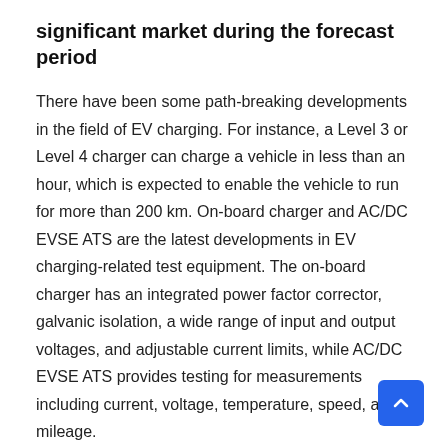significant market during the forecast period
There have been some path-breaking developments in the field of EV charging. For instance, a Level 3 or Level 4 charger can charge a vehicle in less than an hour, which is expected to enable the vehicle to run for more than 200 km. On-board charger and AC/DC EVSE ATS are the latest developments in EV charging-related test equipment. The on-board charger has an integrated power factor corrector, galvanic isolation, a wide range of input and output voltages, and adjustable current limits, while AC/DC EVSE ATS provides testing for measurements including current, voltage, temperature, speed, and mileage.
Key Market Players: